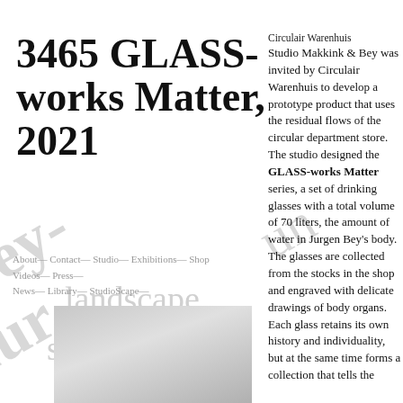3465 GLASS-works Matter, 2021
Circulair Warenhuis
Studio Makkink & Bey was invited by Circulair Warenhuis to develop a prototype product that uses the residual flows of the circular department store. The studio designed the GLASS-works Matter series, a set of drinking glasses with a total volume of 70 liters, the amount of water in Jurgen Bey's body. The glasses are collected from the stocks in the shop and engraved with delicate drawings of body organs. Each glass retains its own history and individuality, but at the same time forms a collection that tells the
About— Contact— Studio— Exhibitions— Shop Videos— Press— News— Library— StudioScape—
[Figure (photo): Grayscale photo showing glass objects]